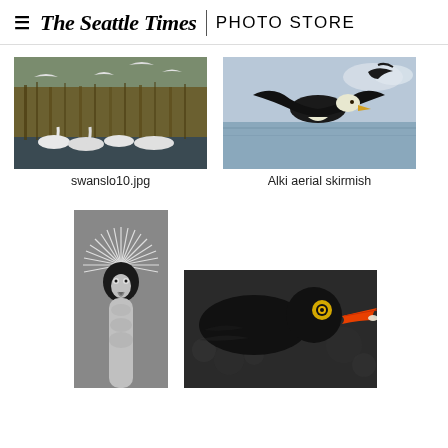The Seattle Times | PHOTO STORE
[Figure (photo): Swans and white birds flying and swimming over a wetland with brown reeds in the background]
swanslo10.jpg
[Figure (photo): Bald eagle and crow in aerial skirmish over water with blue sky]
Alki aerial skirmish
[Figure (photo): Close-up black and white photo of a crowned crane with feathers radiating outward from its head]
[Figure (photo): Close-up of a black oystercatcher bird with orange-red beak and yellow eye]